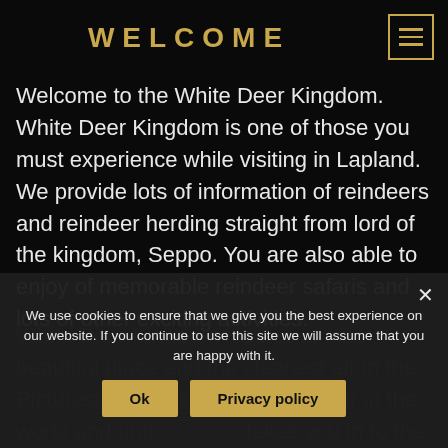WELCOME
Welcome to the White Deer Kingdom. White Deer Kingdom is one of those you must experience while visiting in Lapland. We provide lots of information of reindeers and reindeer herding straight from lord of the kingdom, Seppo. You are also able to enjoy of memorable reindeer safaris and lots of other exciting activities.
White Deer Kingdom locates in most beautiful place and the cleanest air in the Picturesque landscape cleanest air in the world and unb... takes you in to the world that you already th...
We use cookies to ensure that we give you the best experience on our website. If you continue to use this site we will assume that you are happy with it.